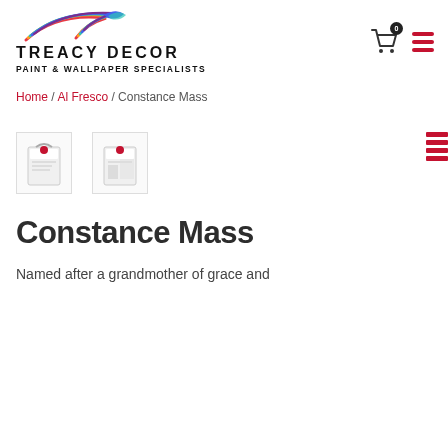[Figure (logo): Treacy Decor logo with colorful swoosh and text TREACY DECOR PAINT & WALLPAPER SPECIALISTS]
Home / Al Fresco / Constance Mass
[Figure (photo): Two product thumbnail images of paint/wallpaper products with Treacy Decor branding]
Constance Mass
Named after a grandmother of grace and